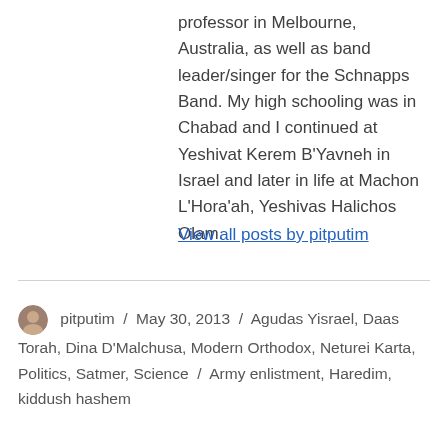professor in Melbourne, Australia, as well as band leader/singer for the Schnapps Band. My high schooling was in Chabad and I continued at Yeshivat Kerem B'Yavneh in Israel and later in life at Machon L'Hora'ah, Yeshivas Halichos Olam.
View all posts by pitputim
pitputim / May 30, 2013 / Agudas Yisrael, Daas Torah, Dina D'Malchusa, Modern Orthodox, Neturei Karta, Politics, Satmer, Science / Army enlistment, Haredim, kiddush hashem